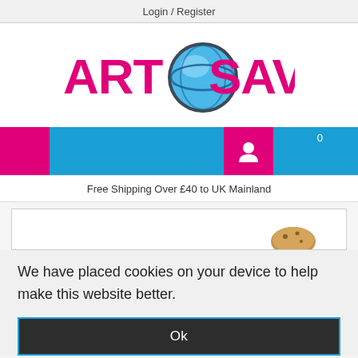Login / Register
[Figure (logo): ArteSaver logo with stylized blue globe/disc icon between ART and SAVER text in pink/magenta]
[Figure (screenshot): Navigation bar with pink and blue sections, user account icon, and number 0]
Free Shipping Over £40 to UK Mainland
We have placed cookies on your device to help make this website better.
Ok